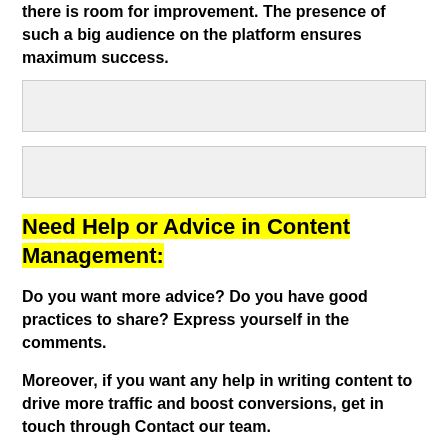your short-term and long-term objectives. However, there is room for improvement. The presence of such a big audience on the platform ensures maximum success.
[Figure (other): Gray placeholder box 1]
[Figure (other): Gray placeholder box 2]
Need Help or Advice in Content Management:
Do you want more advice? Do you have good practices to share? Express yourself in the comments.
Moreover, if you want any help in writing content to drive more traffic and boost conversions, get in touch through Contact our team.